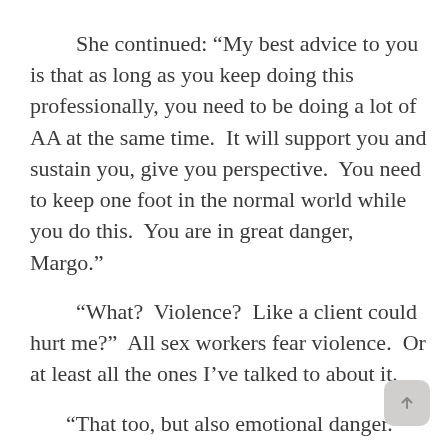She continued: “My best advice to you is that as long as you keep doing this professionally, you need to be doing a lot of AA at the same time.  It will support you and sustain you, give you perspective.  You need to keep one foot in the normal world while you do this.  You are in great danger, Margo.”
“What?  Violence?  Like a client could hurt me?”  All sex workers fear violence.  Or at least all the ones I’ve talked to about it.
“That too, but also emotional danger.”
I know in my heart that she is right.  I’ve known